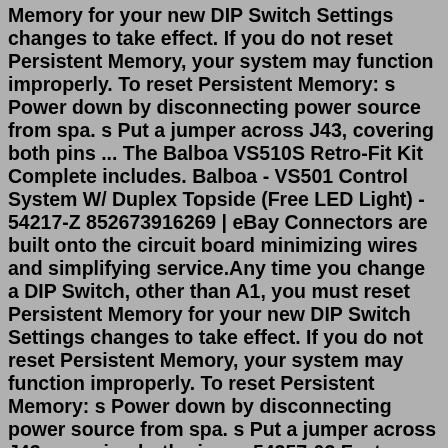Memory for your new DIP Switch Settings changes to take effect. If you do not reset Persistent Memory, your system may function improperly. To reset Persistent Memory: s Power down by disconnecting power source from spa. s Put a jumper across J43, covering both pins ... The Balboa VS510S Retro-Fit Kit Complete includes. Balboa - VS501 Control System W/ Duplex Topside (Free LED Light) - 54217-Z 852673916269 | eBay Connectors are built onto the circuit board minimizing wires and simplifying service.Any time you change a DIP Switch, other than A1, you must reset Persistent Memory for your new DIP Switch Settings changes to take effect. If you do not reset Persistent Memory, your system may function improperly. To reset Persistent Memory: s Power down by disconnecting power source from spa. s Put a jumper across J43, covering both pins ... 54357-03 Features: Processor # VS501ZR2 (X) Can configure all outputs in seconds. Dip switches allow for multiple configurations. Please Note: Many circuit boards may look a like but have different processor